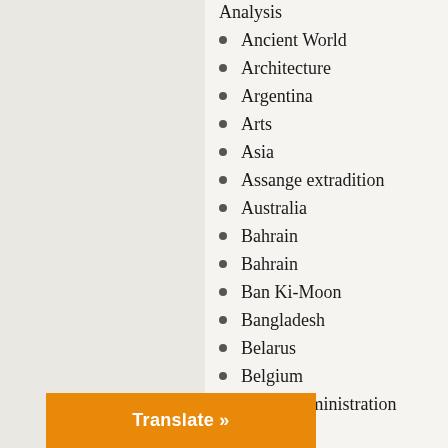Analysis
Ancient World
Architecture
Argentina
Arts
Asia
Assange extradition
Australia
Bahrain
Bahrain
Ban Ki-Moon
Bangladesh
Belarus
Belgium
Biden Administration
Bolivia
Books
Brazil
Britain
Campaign 2016